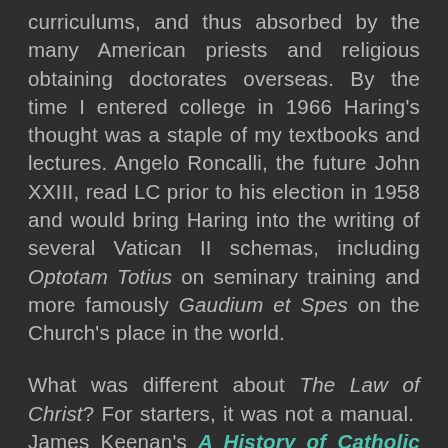curriculums, and thus absorbed by the many American priests and religious obtaining doctorates overseas. By the time I entered college in 1966 Haring's thought was a staple of my textbooks and lectures. Angelo Roncalli, the future John XXIII, read LC prior to his election in 1958 and would bring Haring into the writing of several Vatican II schemas, including Optotam Totius on seminary training and more famously Gaudium et Spes on the Church's place in the world.
What was different about The Law of Christ? For starters, it was not a manual. James Keenan's A History of Catholic Moral Theology in the Twentieth Century